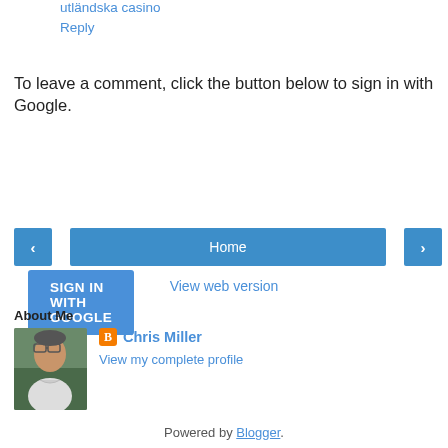utländska casino
Reply
To leave a comment, click the button below to sign in with Google.
SIGN IN WITH GOOGLE
‹
Home
›
View web version
About Me
[Figure (photo): Profile photo of Chris Miller, a middle-aged man outdoors]
Chris Miller
View my complete profile
Powered by Blogger.